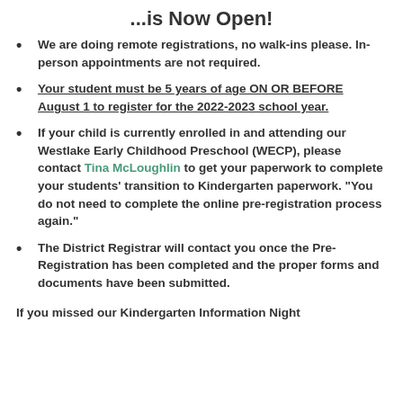...is Now Open!
We are doing remote registrations, no walk-ins please. In-person appointments are not required.
Your student must be 5 years of age ON OR BEFORE August 1 to register for the 2022-2023 school year.
If your child is currently enrolled in and attending our Westlake Early Childhood Preschool (WECP), please contact Tina McLoughlin to get your paperwork to complete your students' transition to Kindergarten paperwork. "You do not need to complete the online pre-registration process again."
The District Registrar will contact you once the Pre-Registration has been completed and the proper forms and documents have been submitted.
If you missed our Kindergarten Information Night